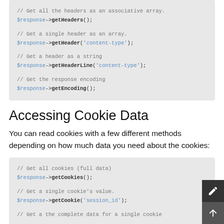[Figure (screenshot): Code block showing PHP response header methods: getHeaders(), getHeader('content-type'), getHeaderLine('content-type'), getEncoding()]
Accessing Cookie Data
You can read cookies with a few different methods depending on how much data you need about the cookies:
[Figure (screenshot): Code block showing PHP response cookie methods: getCookies(), getCookie('session_id'), and a partial line: // Get a the complete data for a single cookie]